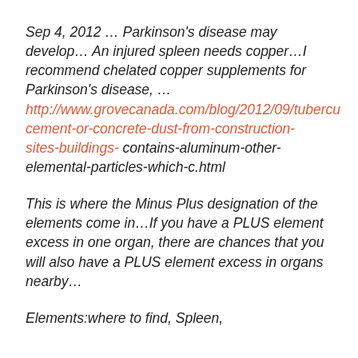Sep 4, 2012 … Parkinson's disease may develop… An injured spleen needs copper…I recommend chelated copper supplements for Parkinson's disease, … http://www.grovecanada.com/blog/2012/09/tubercu cement-or-concrete-dust-from-construction-sites-buildings- contains-aluminum-other-elemental-particles-which-c.html
This is where the Minus Plus designation of the elements come in…If you have a PLUS element excess in one organ, there are chances that you will also have a PLUS element excess in organs nearby…
Elements:where to find, Spleen,